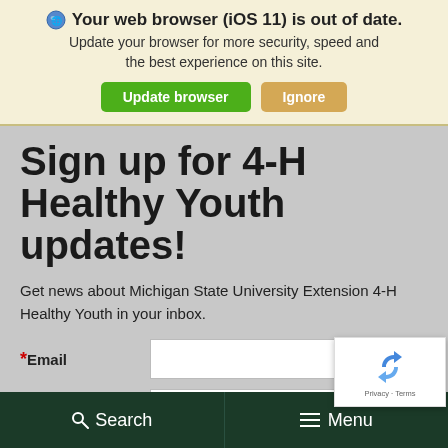Your web browser (iOS 11) is out of date.
Update your browser for more security, speed and the best experience on this site.
Sign up for 4-H Healthy Youth updates!
Get news about Michigan State University Extension 4-H Healthy Youth in your inbox.
* Email
First Name
Search   Menu